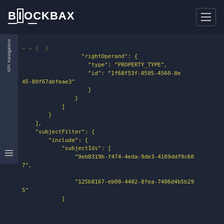BLOCKBAX
API Navigation
"rightOperand": {
    "type": "PROPERTY_TYPE",
    "id": "1f68f53f-0505-4560-8e45-80f67abfeae3"
                    }
                }
            ]
        }
    ],
    "subjectFilter": {
        "include": {
            "subjectIds": [
                "9eb8319b-f474-4eda-9de3-4169ddf9c607",
                "125b8167-eb00-4402-8fea-7406d4b5b295"
            ]